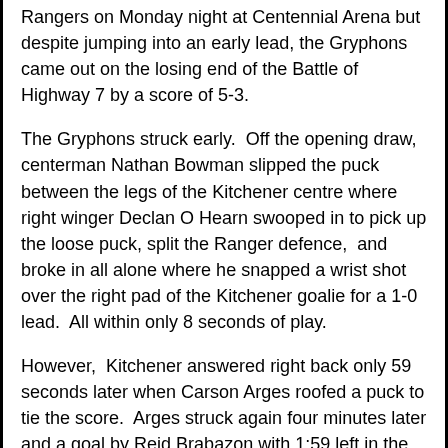Rangers on Monday night at Centennial Arena but despite jumping into an early lead, the Gryphons came out on the losing end of the Battle of Highway 7 by a score of 5-3.
The Gryphons struck early.  Off the opening draw, centerman Nathan Bowman slipped the puck between the legs of the Kitchener centre where right winger Declan O Hearn swooped in to pick up the loose puck, split the Ranger defence,  and broke in all alone where he snapped a wrist shot over the right pad of the Kitchener goalie for a 1-0 lead.  All within only 8 seconds of play.
However,  Kitchener answered right back only 59 seconds later when Carson Arges roofed a puck to tie the score.  Arges struck again four minutes later and a goal by Reid Brabazon with 1:59 left in the first gave Kitchener a 3-1 lead and had the Gryphons back on